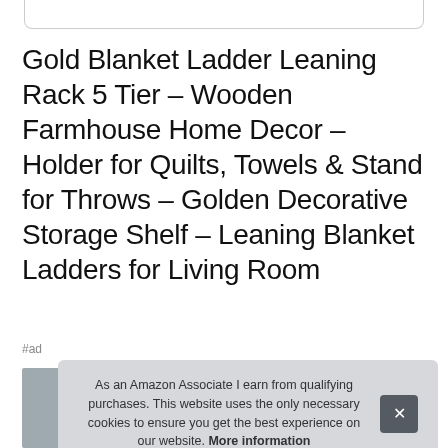Gold Blanket Ladder Leaning Rack 5 Tier – Wooden Farmhouse Home Decor – Holder for Quilts, Towels & Stand for Throws – Golden Decorative Storage Shelf – Leaning Blanket Ladders for Living Room
#ad
As an Amazon Associate I earn from qualifying purchases. This website uses the only necessary cookies to ensure you get the best experience on our website. More information